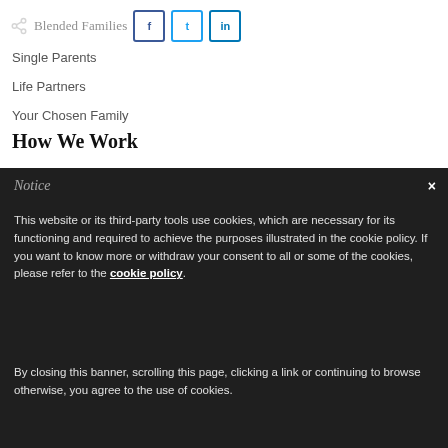Blended Families
Single Parents
Life Partners
Your Chosen Family
How We Work
Notice
This website or its third-party tools use cookies, which are necessary for its functioning and required to achieve the purposes illustrated in the cookie policy. If you want to know more or withdraw your consent to all or some of the cookies, please refer to the cookie policy. By closing this banner, scrolling this page, clicking a link or continuing to browse otherwise, you agree to the use of cookies.